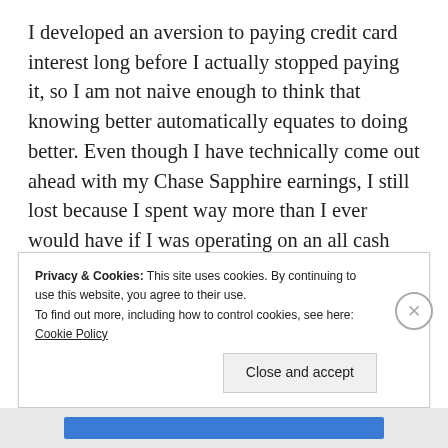I developed an aversion to paying credit card interest long before I actually stopped paying it, so I am not naive enough to think that knowing better automatically equates to doing better. Even though I have technically come out ahead with my Chase Sapphire earnings, I still lost because I spent way more than I ever would have if I was operating on an all cash basis. With no steady source of income for the foreseeable future I cannot afford to charge impulse purchases and figure it out later.
Privacy & Cookies: This site uses cookies. By continuing to use this website, you agree to their use.
To find out more, including how to control cookies, see here: Cookie Policy
[Close and accept]